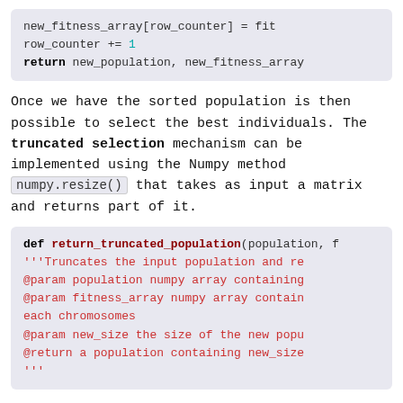[Figure (screenshot): Code block showing: new_fitness_array[row_counter] = fit, row_counter += 1, return new_population, new_fitness_array]
Once we have the sorted population is then possible to select the best individuals. The truncated selection mechanism can be implemented using the Numpy method numpy.resize() that takes as input a matrix and returns part of it.
[Figure (screenshot): Code block showing: def return_truncated_population(population, f ... '''Truncates the input population and re ... @param population numpy array containing ... @param fitness_array numpy array contain each chromosomes ... @param new_size the size of the new popu ... @return a population containing new_size ...]